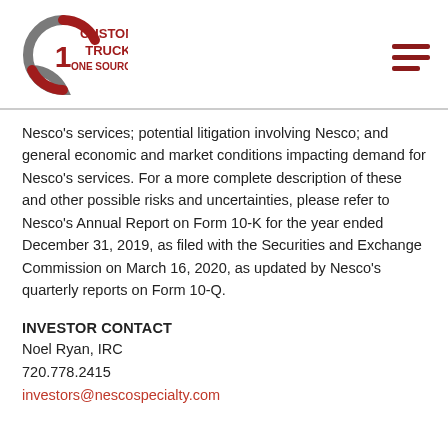[Figure (logo): Custom Truck One Source logo with circular 'C1' emblem in grey and red, and text 'CUSTOM TRUCK ONE SOURCE' in red to the right]
Nesco's services; potential litigation involving Nesco; and general economic and market conditions impacting demand for Nesco's services. For a more complete description of these and other possible risks and uncertainties, please refer to Nesco's Annual Report on Form 10-K for the year ended December 31, 2019, as filed with the Securities and Exchange Commission on March 16, 2020, as updated by Nesco's quarterly reports on Form 10-Q.
INVESTOR CONTACT
Noel Ryan, IRC
720.778.2415
investors@nescospecialty.com